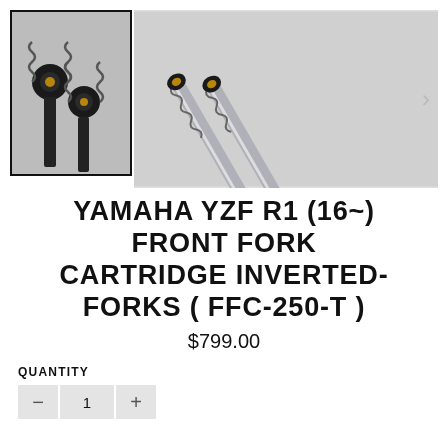[Figure (photo): Two product images of front fork cartridge for Yamaha YZF R1. Left: thumbnail with black border showing close-up of two fork cartridge tops with springs. Right: main larger image showing full fork cartridges with springs and tubes extending diagonally.]
YAMAHA YZF R1 (16~) FRONT FORK CARTRIDGE INVERTED-FORKS ( FFC-250-T )
$799.00
QUANTITY
1